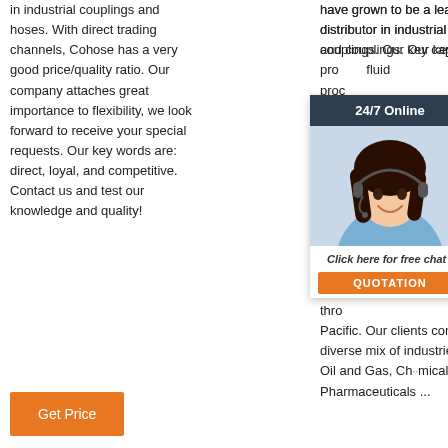in industrial couplings and hoses. With direct trading channels, Cohose has a very good price/quality ratio. Our company attaches great importance to flexibility, we look forward to receive your special requests. Our key words are: direct, loyal, and competitive. Contact us and test our knowledge and quality!
have grown to be a leading distributor in industrial hoses and couplings. Our key capa[bility is to] pro[vide] fluid [power] proc[essing]. Ove[r the years we] have [built a track] reco[rd of providing] prod[ucts] thro[ughout Asia] Pacific. Our clients come from a diverse mix of industries... Oil and Gas, Chemicals, Pharmaceuticals ...
[Figure (other): Chat widget with header '24/7 Online', photo of a woman with headset, text 'Click here for free chat!', and orange QUOTATION button]
Get Price